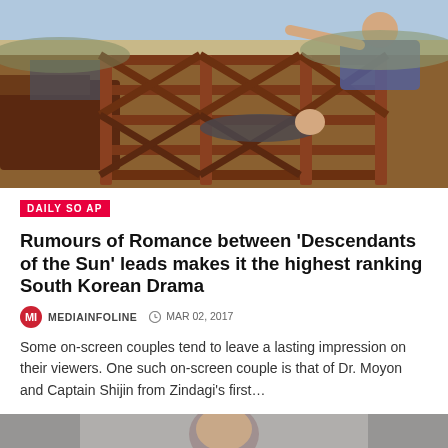[Figure (photo): Two people on the back of an old rusty truck with wooden slat sides, outdoors in a field setting]
DAILY SOAP
Rumours of Romance between ‘Descendants of the Sun’ leads makes it the highest ranking South Korean Drama
MEDIAINFOLINE  MAR 02, 2017
Some on-screen couples tend to leave a lasting impression on their viewers. One such on-screen couple is that of Dr. Moyon and Captain Shijin from Zindagi’s first…
[Figure (photo): Partial view of a person, bottom portion of page, appears to show someone in red clothing against a grey background]